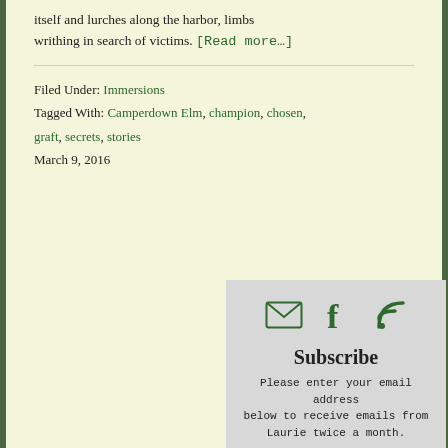itself and lurches along the harbor, limbs writhing in search of victims. [Read more…]
Filed Under: Immersions
Tagged With: Camperdown Elm, champion, chosen, graft, secrets, stories
March 9, 2016
[Figure (infographic): Subscribe panel with email, Facebook, and RSS icons, a Subscribe heading, and text: Please enter your email address below to receive emails from Laurie twice a month.]